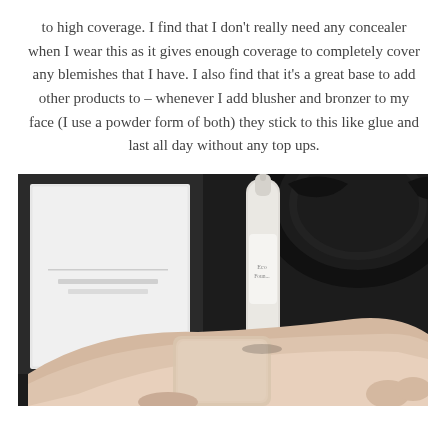to high coverage. I find that I don't really need any concealer when I wear this as it gives enough coverage to completely cover any blemishes that I have. I also find that it's a great base to add other products to – whenever I add blusher and bronzer to my face (I use a powder form of both) they stick to this like glue and last all day without any top ups.
[Figure (photo): A hand with a swatch of foundation product applied to the back, held next to a small white spray bottle of foundation product, against a dark background with a decorative black frame visible.]